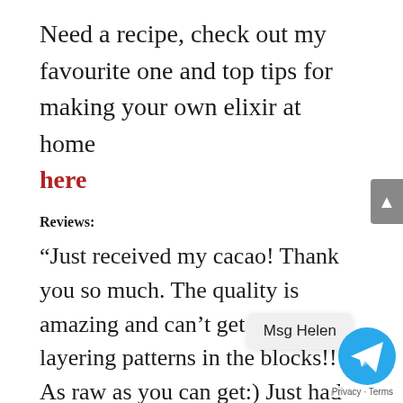Need a recipe, check out my favourite one and top tips for making your own elixir at home here
Reviews:
“Just received my cacao! Thank you so much. The quality is amazing and can’t get over the layering patterns in the blocks!! As raw as you can get:) Just had my first cup and it’s…”
Ilsa Secrett